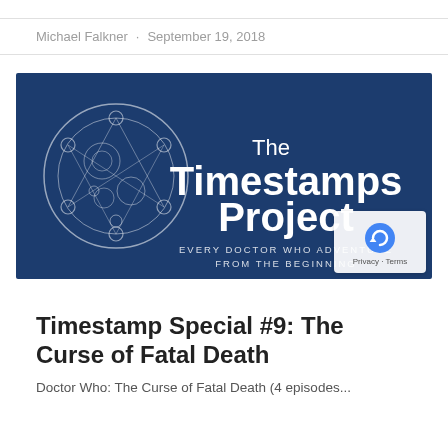Michael Falkner · September 19, 2018
[Figure (logo): The Timestamps Project logo on dark navy blue background. Left side shows a circular Gallifreyan symbol (clock-like diagram with geometric lines). Right side shows white text: 'The Timestamps Project' in bold, and below in spaced caps: 'EVERY DOCTOR WHO ADVENTURE FROM THE BEGINNING']
Timestamp Special #9: The Curse of Fatal Death
Doctor Who: The Curse of Fatal Death (4 episodes...